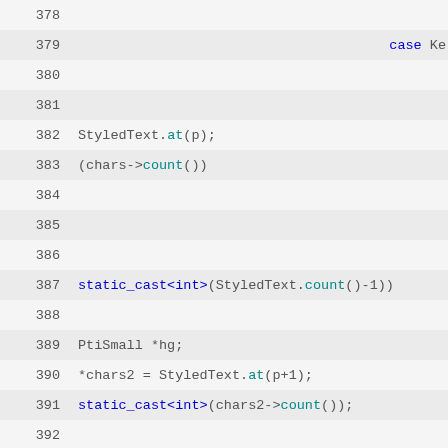378
379    case Ke
380
381
382    StyledText.at(p);
383    (chars->count())
384
385
386
387    static_cast<int>(StyledText.count()-1))
388
389    PtiSmall *hg;
390    *chars2 = StyledText.at(p+1);
391    static_cast<int>(chars2->count());
392
393
394